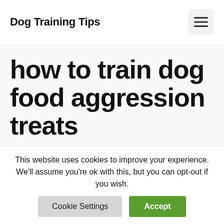Dog Training Tips
how to train dog food aggression treats
This website uses cookies to improve your experience. We'll assume you're ok with this, but you can opt-out if you wish.